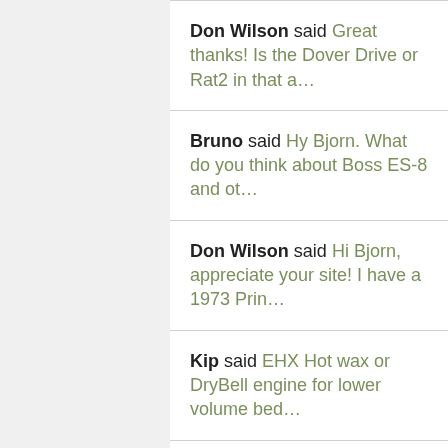Don Wilson said Great thanks! Is the Dover Drive or Rat2 in that a...
Bruno said Hy Bjorn. What do you think about Boss ES-8 and ot...
Don Wilson said Hi Bjorn, appreciate your site! I have a 1973 Prin...
Kip said EHX Hot wax or DryBell engine for lower volume bed...
Tim said hi bjorn, is there big difference between the t20...